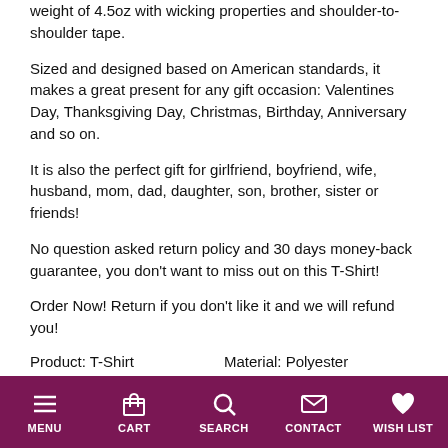weight of 4.5oz with wicking properties and shoulder-to-shoulder tape.
Sized and designed based on American standards, it makes a great present for any gift occasion: Valentines Day, Thanksgiving Day, Christmas, Birthday, Anniversary and so on.
It is also the perfect gift for girlfriend, boyfriend, wife, husband, mom, dad, daughter, son, brother, sister or friends!
No question asked return policy and 30 days money-back guarantee, you don't want to miss out on this T-Shirt!
Order Now! Return if you don't like it and we will refund you!
Product: T-Shirt    Material: Polyester
MENU  CART  SEARCH  CONTACT  WISH LIST